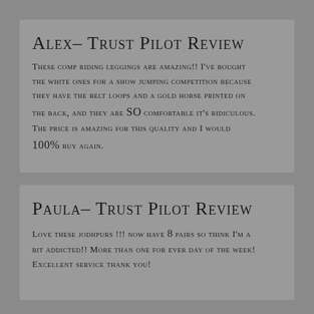Alex- Trust Pilot Review
These comp riding leggings are amazing!! I've bought the white ones for a show jumping competition because they have the belt loops and a gold horse printed on the back, and they are SO comfortable it's ridiculous. The price is amazing for this quality and I would 100% buy again.
Paula- Trust Pilot Review
Love these jodhpurs !!! now have 8 pairs so think I'm a bit addicted!! More than one for ever day of the week! Excellent service thank you!